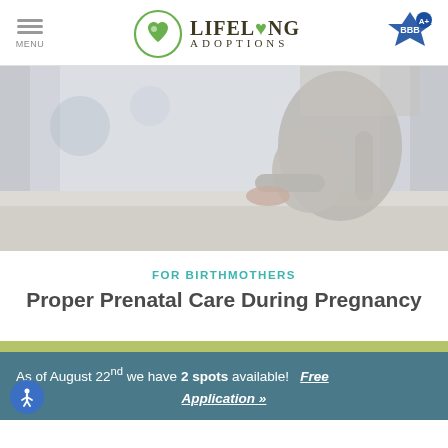MENU | LIFELONG ADOPTIONS | BBB A+
[Figure (photo): Pregnant woman in grey clothing sitting by a window, profile/side view, blurred background]
FOR BIRTHMOTHERS
Proper Prenatal Care During Pregnancy
As of August 22nd we have 2 spots available! Free Application »